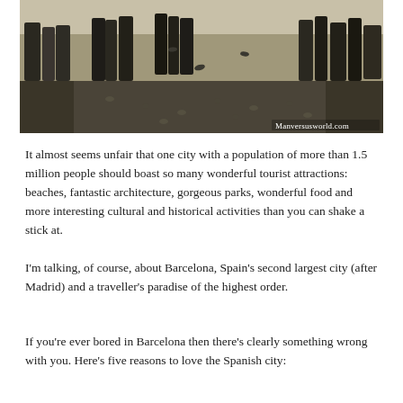[Figure (photo): Outdoor plaza or square with many people walking and pigeons on the ground, appears to be a busy tourist area. Watermark reads 'Manversusworld.com' in bottom right corner.]
It almost seems unfair that one city with a population of more than 1.5 million people should boast so many wonderful tourist attractions: beaches, fantastic architecture, gorgeous parks, wonderful food and more interesting cultural and historical activities than you can shake a stick at.
I'm talking, of course, about Barcelona, Spain's second largest city (after Madrid) and a traveller's paradise of the highest order.
If you're ever bored in Barcelona then there's clearly something wrong with you. Here's five reasons to love the Spanish city: